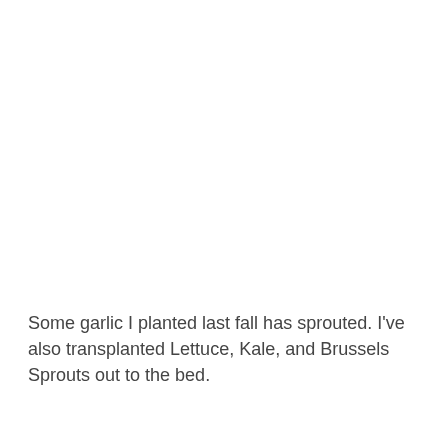Some garlic I planted last fall has sprouted. I've also transplanted Lettuce, Kale, and Brussels Sprouts out to the bed.